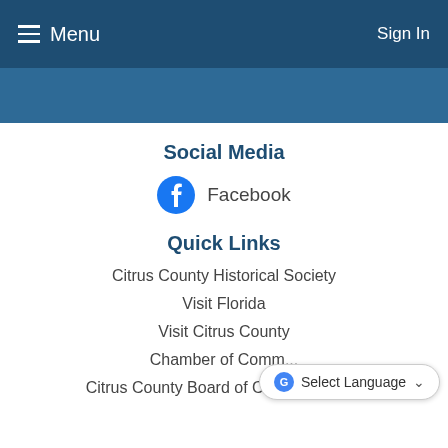Menu   Sign In
[Figure (screenshot): Blue banner/hero image area with darker blue background]
Social Media
Facebook
Quick Links
Citrus County Historical Society
Visit Florida
Visit Citrus County
Chamber of Comm...
Citrus County Board of Commissioners
Select Language